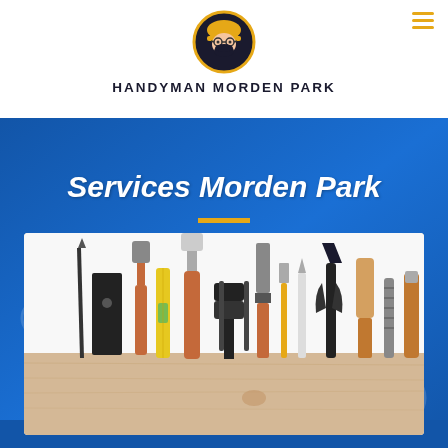[Figure (logo): Handyman Morden Park logo: circular badge with dark background, yellow border, cartoon handyman face with helmet and beard]
HANDYMAN MORDEN PARK
[Figure (illustration): Blue hero banner background with faint tool silhouettes]
Services Morden Park
[Figure (photo): Photograph of various handyman tools arranged upright in a wooden box/holder: drill bits, hammer, level, paintbrush, clamp, scraper, utility knife, pliers, wood chisel, file, and other tools on white background]